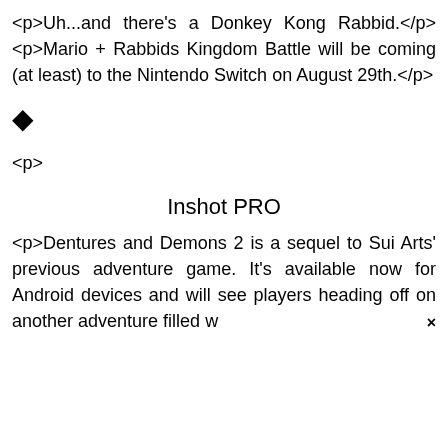<p>Uh...and there's a Donkey Kong Rabbid.</p><p>Mario + Rabbids Kingdom Battle will be coming (at least) to the Nintendo Switch on August 29th.</p>
◆
<p>
Inshot PRO
<p>Dentures and Demons 2 is a sequel to Sui Arts' previous adventure game. It's available now for Android devices and will see players heading off on another adventure filled w